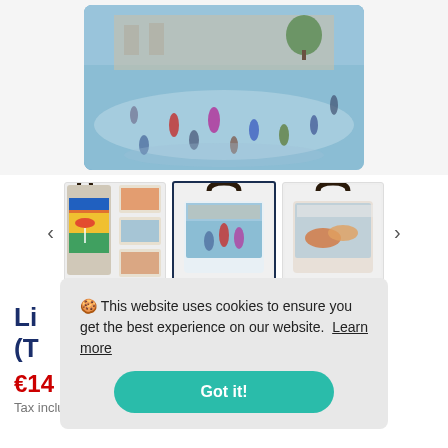[Figure (photo): Main product image: a tote bag with a painting of ice skaters at a rink, shown from above. The image shows people skating on a blue ice surface with a building in the background.]
[Figure (photo): Thumbnail row showing three tote bags: first with colorful rainy street scene, second (selected, with dark border) with ice skaters painting, third with a food/still life painting. Navigation arrows on left and right.]
Li... (T...
€14...
Tax included
🍪 This website uses cookies to ensure you get the best experience on our website.  Learn more
Got it!